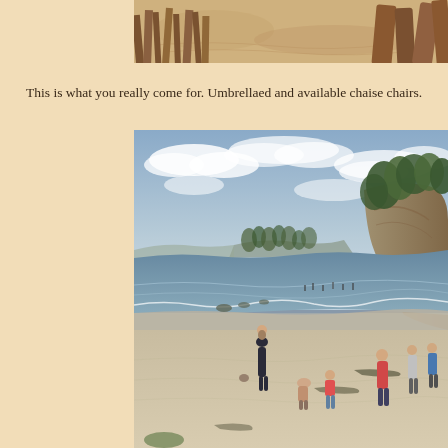[Figure (photo): Top partial photo showing sandy beach with wooden beach chairs/loungers visible at the edge]
This is what you really come for. Umbrellaed and available chaise chairs.
[Figure (photo): Beach scene with people walking along shoreline, ocean waves, rocky cliffs with trees in background, cloudy sky]